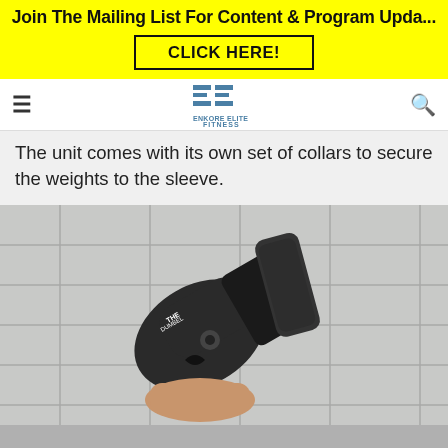[Figure (infographic): Yellow banner ad with text 'Join The Mailing List For Content & Program Upda...' and a black-bordered button reading 'CLICK HERE!']
Enkore Elite Fitness navigation bar with hamburger menu, logo, and search icon
The unit comes with its own set of collars to secure the weights to the sleeve.
[Figure (photo): Photo of a dumbbell handle/weight sleeve with collars and a hand holding the equipment, on a tiled floor background]